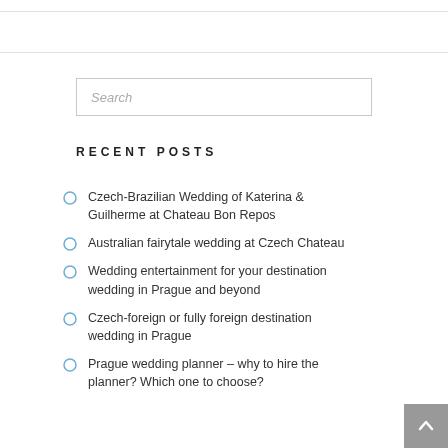Search
RECENT POSTS
Czech-Brazilian Wedding of Katerina & Guilherme at Chateau Bon Repos
Australian fairytale wedding at Czech Chateau
Wedding entertainment for your destination wedding in Prague and beyond
Czech-foreign or fully foreign destination wedding in Prague
Prague wedding planner – why to hire the planner? Which one to choose?